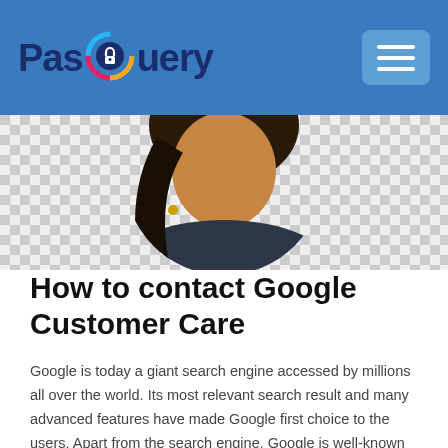PasQuery
[Figure (photo): A woman with long dark hair wearing a dark blazer, shown from the shoulders up against a checkered/transparent background, cropped as a circular portrait in the hero image area.]
How to contact Google Customer Care
Google is today a giant search engine accessed by millions all over the world. Its most relevant search result and many advanced features have made Google first choice to the users. Apart from the search engine, Google is well-known for its